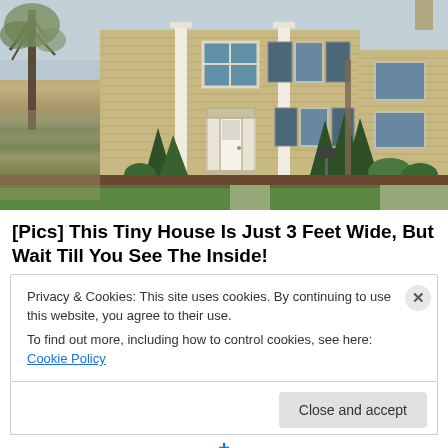[Figure (photo): Exterior photo of a two-story colonial-style house with tan/beige vinyl siding, white columns, blue shutters, green lawn, shrubs, and trees in spring.]
[Pics] This Tiny House Is Just 3 Feet Wide, But Wait Till You See The Inside!
Privacy & Cookies: This site uses cookies. By continuing to use this website, you agree to their use.
To find out more, including how to control cookies, see here: Cookie Policy
Close and accept